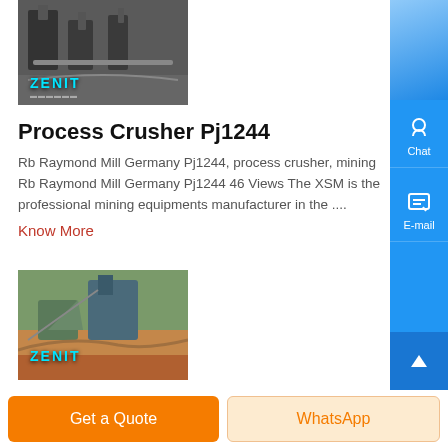[Figure (photo): Industrial mining/crushing plant with Zenit branding overlay (top image)]
Process Crusher Pj1244
Rb Raymond Mill Germany Pj1244, process crusher, mining Rb Raymond Mill Germany Pj1244 46 Views The XSM is the professional mining equipments manufacturer in the ....
Know More
[Figure (photo): Outdoor mining site with heavy equipment and Zenit branding overlay (bottom image)]